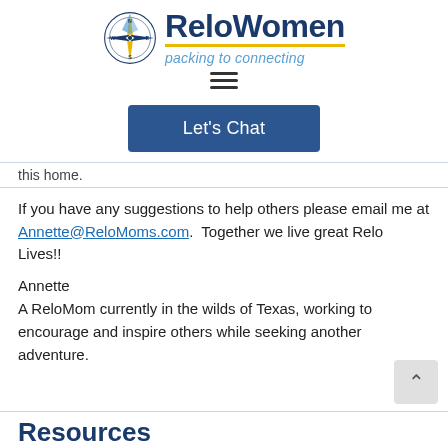[Figure (logo): ReloWomen logo with compass rose and text 'ReloWomen packing to connecting']
[Figure (other): Hamburger menu icon (three horizontal lines)]
[Figure (other): Let's Chat button in dark blue]
this home.
If you have any suggestions to help others please email me at Annette@ReloMoms.com.  Together we live great Relo Lives!!
Annette
A ReloMom currently in the wilds of Texas, working to encourage and inspire others while seeking another adventure.
Resources